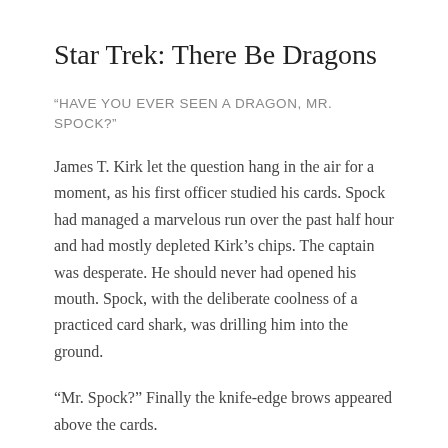Star Trek: There Be Dragons
“HAVE YOU EVER SEEN A DRAGON, MR. SPOCK?”
James T. Kirk let the question hang in the air for a moment, as his first officer studied his cards. Spock had managed a marvelous run over the past half hour and had mostly depleted Kirk’s chips. The captain was desperate. He should never had opened his mouth. Spock, with the deliberate coolness of a practiced card shark, was drilling him into the ground.
“Mr. Spock?” Finally the knife-edge brows appeared above the cards.
“Captain, how can I continue to play with any